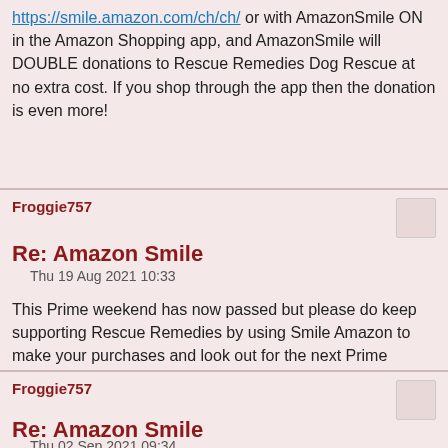https://smile.amazon.com/ch/ch/ or with AmazonSmile ON in the Amazon Shopping app, and AmazonSmile will DOUBLE donations to Rescue Remedies Dog Rescue at no extra cost. If you shop through the app then the donation is even more!
Froggie757
Re: Amazon Smile
Thu 19 Aug 2021 10:33
This Prime weekend has now passed but please do keep supporting Rescue Remedies by using Smile Amazon to make your purchases and look out for the next Prime special offer week in the next few months. Thank you for supporting us!
Froggie757
Re: Amazon Smile
Thu 02 Sep 2021 09:34